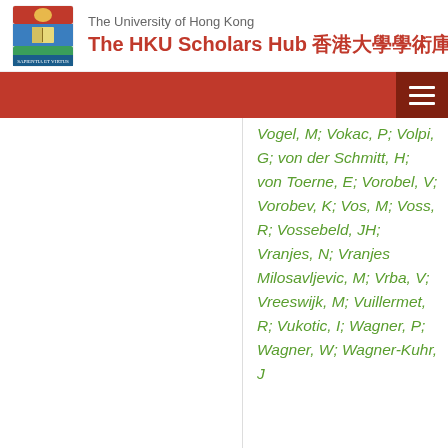The University of Hong Kong — The HKU Scholars Hub 香港大學學術庫
Vogel, M; Vokac, P; Volpi, G; von der Schmitt, H; von Toerne, E; Vorobel, V; Vorobev, K; Vos, M; Voss, R; Vossebeld, JH; Vranjes, N; Vranjes Milosavljevic, M; Vrba, V; Vreeswijk, M; Vuillermet, R; Vukotic, I; Wagner, P; Wagner, W; Wagner-Kuhr, J